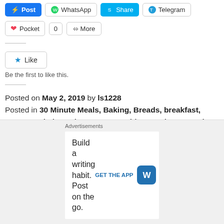[Figure (screenshot): Social share buttons row: Post (Facebook), WhatsApp, Share (Skype), Telegram]
[Figure (screenshot): Second row of share buttons: Pocket, 0 count, More]
[Figure (screenshot): Like button widget with star icon]
Be the first to like this.
Posted on May 2, 2019 by ls1228
Posted in 30 Minute Meals, Baking, Breads, breakfast, Dessert, Dieting, Gluten Free, Healthy Snacks, Keto Diet, Lacto Vegetarian, Lisa's Keto Kitchen, Low Carb, Quick, Recipes, Skinny, snacks, Treats
Tagged #BananaMuffinTop, #KetoApproved, #KetoFriendly, Banana Muffin Tops, Muffin Top
Advertisements
Build a writing habit. Post on the go.
GET THE APP